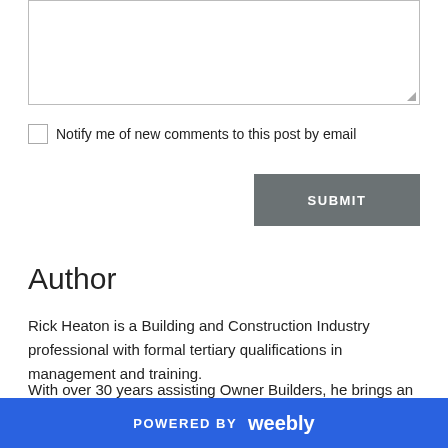[Figure (screenshot): Text area input box with resize handle in bottom-right corner]
Notify me of new comments to this post by email
SUBMIT
Author
Rick Heaton is a Building and Construction Industry professional with formal tertiary qualifications in management and training.
With over 30 years assisting Owner Builders, he brings an easy style to providing information and advice to our students.
POWERED BY weebly